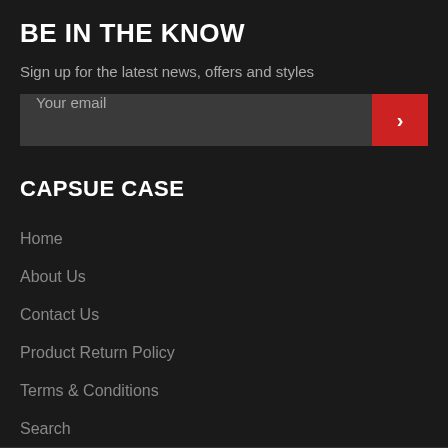BE IN THE KNOW
Sign up for the latest news, offers and styles
[Figure (other): Email signup input field with red submit arrow button]
CAPSUE CASE
Home
About Us
Contact Us
Product Return Policy
Terms & Conditions
Search